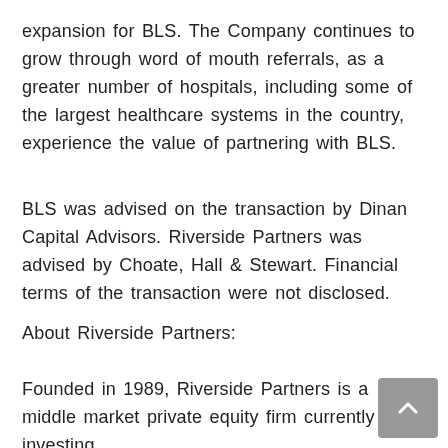expansion for BLS. The Company continues to grow through word of mouth referrals, as a greater number of hospitals, including some of the largest healthcare systems in the country, experience the value of partnering with BLS.
BLS was advised on the transaction by Dinan Capital Advisors. Riverside Partners was advised by Choate, Hall & Stewart. Financial terms of the transaction were not disclosed.
About Riverside Partners:
Founded in 1989, Riverside Partners is a middle market private equity firm currently investing Riverside's Fund IV: The Fourth...